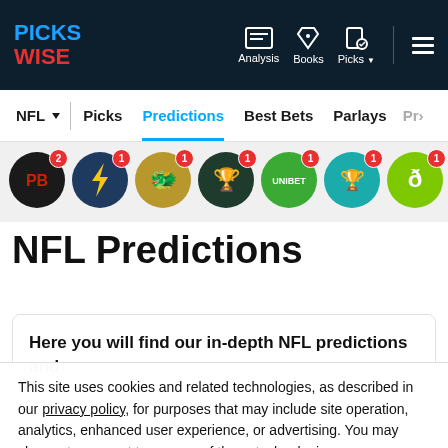PICKSWISE — Analysis | Books | Picks
NFL ▾ | Picks | Predictions | Best Bets | Parlays | Pr›
[Figure (logo): Row of bookmaker circular logos with notification badges: PB (black, badge 2), Lightning bolt (dark blue, badge 1), Dragon (gold, badge 1), Trophy (dark green, badge 1), Unibet (green, badge 1), Pricebet trophy (teal, badge 1), D (lime green, badge 1), partial dark circle]
NFL Predictions
Here you will find our in-depth NFL predictions and
This site uses cookies and related technologies, as described in our privacy policy, for purposes that may include site operation, analytics, enhanced user experience, or advertising. You may choose to consent to our use of these technologies, or manage your own preferences.